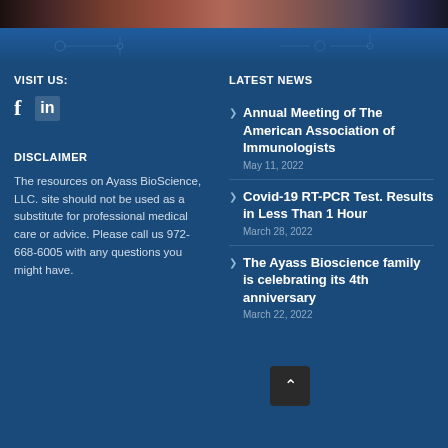[Figure (photo): Top banner photo strip showing partial image of people or medical setting]
VISIT US:
[Figure (other): Social media icons: Facebook (f) and LinkedIn (in)]
DISCLAIMER
The resources on Ayass BioScience, LLC. site should not be used as a substitute for professional medical care or advice. Please call us 972-668-6005 with any questions you might have.
LATEST NEWS
Annual Meeting of The American Association of Immunologists
May 11, 2022
Covid-19 RT-PCR Test. Results in Less Than 1 Hour
March 28, 2022
The Ayass Bioscience family is celebrating its 4th anniversary
March 22, 2022